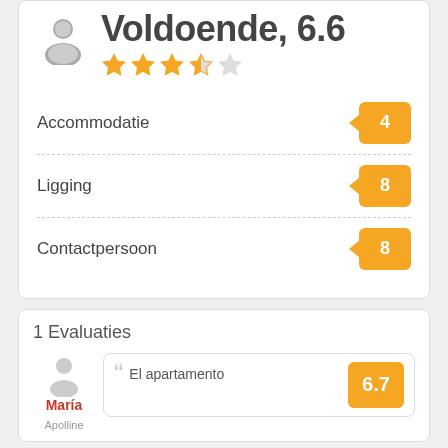Voldoende, 6.6
| Category | Score |
| --- | --- |
| Accommodatie | 4 |
| Ligging | 8 |
| Contactpersoon | 8 |
1 Evaluaties
María
El apartamento
6.7